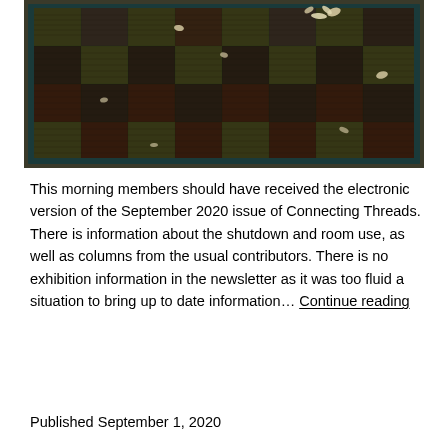[Figure (photo): Dark patterned quilt or textile with a grid/plaid design in dark browns and blacks, with small light-colored leaf or petal motifs scattered across it, and a teal/dark border.]
This morning members should have received the electronic version of the September 2020 issue of Connecting Threads. There is information about the shutdown and room use, as well as columns from the usual contributors. There is no exhibition information in the newsletter as it was too fluid a situation to bring up to date information… Continue reading
Published September 1, 2020